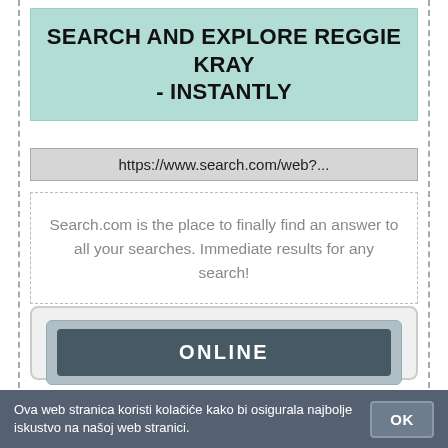SEARCH AND EXPLORE REGGIE KRAY - INSTANTLY
https://www.search.com/web?...
Search.com is the place to finally find an answer to all your searches. Immediate results for any search!
[Figure (screenshot): UI panel with ONLINE button, PREGLED (preview) and POGLED (view) buttons]
Ova web stranica koristi kolačiće kako bi osigurala najbolje iskustvo na našoj web stranici.